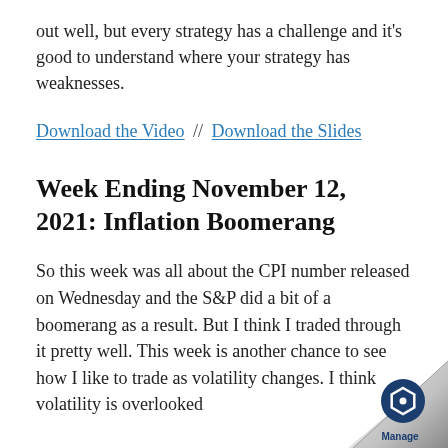out well, but every strategy has a challenge and it's good to understand where your strategy has weaknesses.
Download the Video // Download the Slides
Week Ending November 12, 2021: Inflation Boomerang
So this week was all about the CPI number released on Wednesday and the S&P did a bit of a boomerang as a result. But I think I traded through it pretty well. This week is another chance to see how I like to trade as volatility changes. I think volatility is overlooked